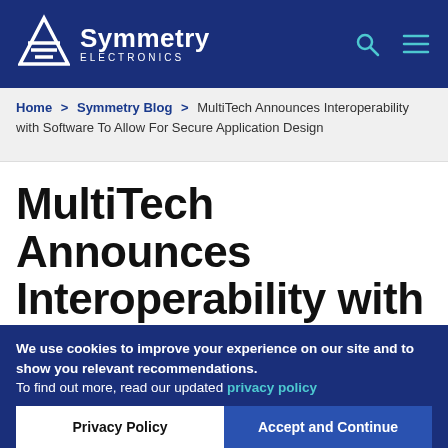Symmetry Electronics
Home > Symmetry Blog > MultiTech Announces Interoperability with Software To Allow For Secure Application Design
MultiTech Announces Interoperability with
We use cookies to improve your experience on our site and to show you relevant recommendations. To find out more, read our updated privacy policy
Privacy Policy | Accept and Continue